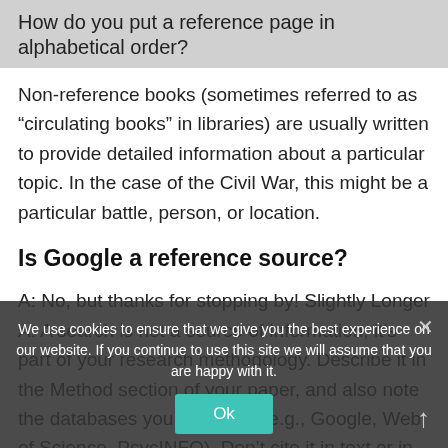How do you put a reference page in alphabetical order?
Non-reference books (sometimes referred to as “circulating books” in libraries) are usually written to provide detailed information about a particular topic. In the case of the Civil War, this might be a particular battle, person, or location.
Is Google a reference source?
A: No, but thanks for stopping by! Slightly Longer A: A search is not a source of information; it’s part of your research methodology. Describe it in the Method section of your paper, and also note the databases you searched (e.g., Google, Web of Science, PsycINFO). Don’t cite it in text or in the reference list.
How do I make a reference page?
We use cookies to ensure that we give you the best experience on our website. If you continue to use this site we will assume that you are happy with it.